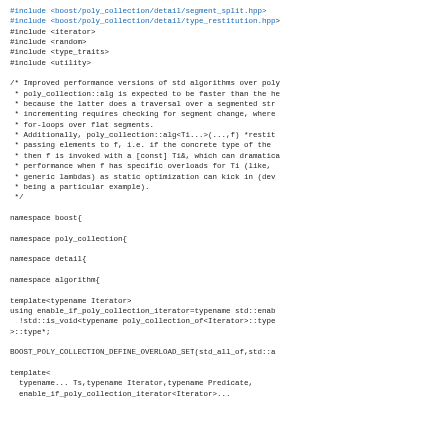#include <boost/poly_collection/detail/segment_split.hpp>
#include <boost/poly_collection/detail/type_restitution.hpp>
#include <iterator>
#include <random>
#include <type_traits>
#include <utility>

/* Improved performance versions of std algorithms over poly
 * poly_collection::alg is expected to be faster than the he
 * because the latter does a traversal over a segmented str
 * incrementing requires checking for segment change, where
 * for-loops over flat segments.
 * Additionally, poly_collection::alg<Ti...>(...,f) *restit
 * passing elements to f, i.e. if the concrete type of the
 * then f is invoked with a [const] Ti&, which can dramatica
 * performance when f has specific overloads for Ti (like,
 * generic lambdas) as static optimization can kick in (dev
 * being a particular example).
 */

namespace boost{

namespace poly_collection{

namespace detail{

namespace algorithm{

template<typename Iterator>
using enable_if_poly_collection_iterator=typename std::enab
  !std::is_void<typename poly_collection_of<Iterator>::type
>::type*;

BOOST_POLY_COLLECTION_DEFINE_OVERLOAD_SET(std_all_of,std::a

template<
  typename... Ts,typename Iterator,typename Predicate,
  enable_if_poly_collection_iterator<Iterator>...